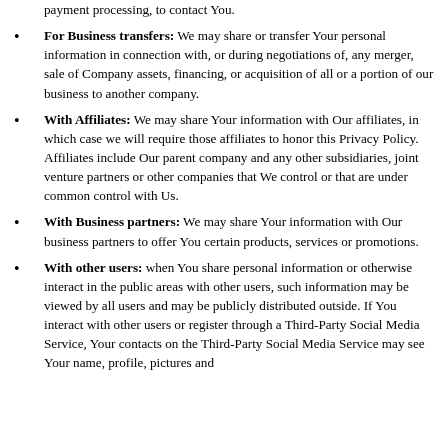payment processing, to contact You.
For Business transfers: We may share or transfer Your personal information in connection with, or during negotiations of, any merger, sale of Company assets, financing, or acquisition of all or a portion of our business to another company.
With Affiliates: We may share Your information with Our affiliates, in which case we will require those affiliates to honor this Privacy Policy. Affiliates include Our parent company and any other subsidiaries, joint venture partners or other companies that We control or that are under common control with Us.
With Business partners: We may share Your information with Our business partners to offer You certain products, services or promotions.
With other users: when You share personal information or otherwise interact in the public areas with other users, such information may be viewed by all users and may be publicly distributed outside. If You interact with other users or register through a Third-Party Social Media Service, Your contacts on the Third-Party Social Media Service may see Your name, profile, pictures and description of Your activity. Similarly, other users will be able to